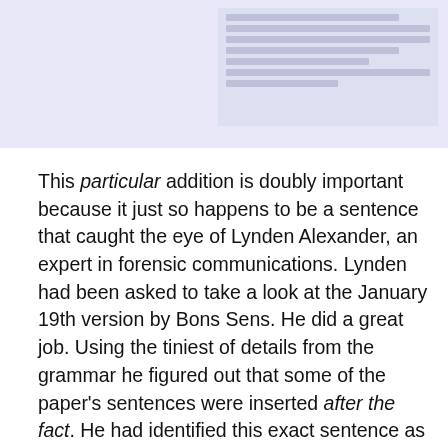[Figure (screenshot): Partial screenshot of a document page showing text lines, with a vertical bar and document panel on the right side against a light purple/grey background.]
This particular addition is doubly important because it just so happens to be a sentence that caught the eye of Lynden Alexander, an expert in forensic communications. Lynden had been asked to take a look at the January 19th version by Bons Sens. He did a great job. Using the tiniest of details from the grammar he figured out that some of the paper’s sentences were inserted after the fact. He had identified this exact sentence as one which had likely been inserted. He wasn’t aware of the existence of the January 14th paper when he compiled his report, so he couldn’t have known as I did. But wouldn’t you know it, when we compare the two papers it’s crystal clear: the